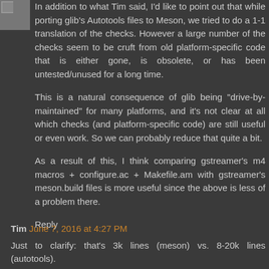[Figure (photo): Small avatar/profile image in top-left corner, partially visible]
In addition to what Tim said, I'd like to point out that while porting glib's Autotools files to Meson, we tried to do a 1-1 translation of the checks. However a large number of the checks seem to be cruft from old platform-specific code that is either gone, is obsolete, or has been untested/unused for a long time.
This is a natural consequence of glib being "drive-by-maintained" for many platforms, and it's not clear at all which checks (and platform-specific code) are still useful or even work. So we can probably reduce that quite a bit.
As a result of this, I think comparing gstreamer's m4 macros + configure.ac + Makefile.am with gstreamer's meson.build files is more useful since the above is less of a problem there.
Reply
Tim June 7, 2016 at 4:27 PM
Just to clarify: that's 3k lines (meson) vs. 8-20k lines (autotools).